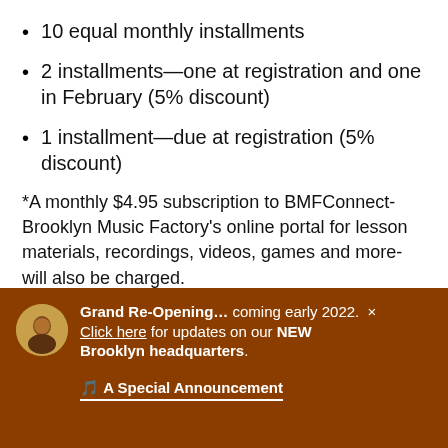10 equal monthly installments
2 installments—one at registration and one in February (5% discount)
1 installment—due at registration (5% discount)
*A monthly $4.95 subscription to BMFConnect-Brooklyn Music Factory's online portal for lesson materials, recordings, videos, games and more-will also be charged.
*A one-time $40 membership fee will be charged the first time a student enrolls in lessons or classes.
Grand Re-Opening... coming early 2022. Click here for updates on our NEW Brooklyn headquarters.
🎵 A Special Announcement